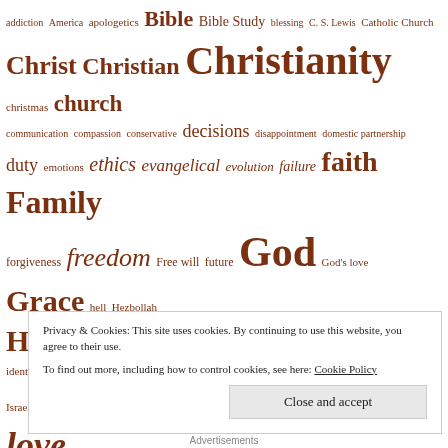[Figure (infographic): Tag cloud / word cloud with religious and philosophical terms in varying font sizes in brown/rust color. Terms include: addiction, America, apologetics, Bible, Bible Study, blessing, C. S. Lewis, Catholic Church, Christ, Christian, Christianity, christmas, church, communication, compassion, conservative, decisions, disappointment, domestic partnership, duty, emotions, ethics, evangelical, evolution, failure, faith, Family, forgiveness, freedom, Free will, future, God, God's love, Grace, hell, Hezbollah, Holy Spirit, homosexuality, hope, humanism, I and Thou, identity, intimacy, Israel, J. P. Moreland, Jesus, knowledge, law, liberal, Life, Lord, loss, love, marriage, Martin Buber, meaning, mercy, Middle East, morality, movies, Music, New Testament, Old Testament, pain, Parenting, peace, Pentecostal, pluralism, poems, postmodernism, preaching, privatization, Proposition 8, Psalms, Righteousness, sacrifice, same-sex marriage, same-sex unions, Science, Secular humanism, secularism, Sin, songs, spiritual gifts]
Privacy & Cookies: This site uses cookies. By continuing to use this website, you agree to their use.
To find out more, including how to control cookies, see here: Cookie Policy
Advertisements